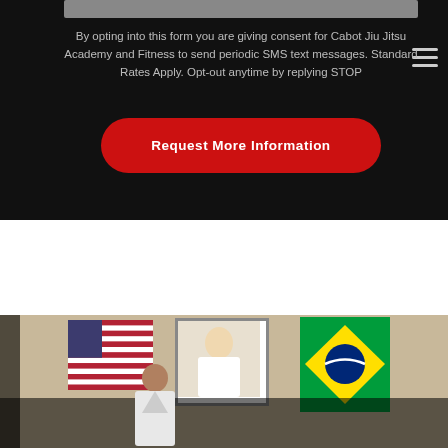By opting into this form you are giving consent for Cabot Jiu Jitsu Academy and Fitness to send periodic SMS text messages. Standard Rates Apply. Opt-out anytime by replying STOP
Request More Information
[Figure (photo): Interior of a martial arts gym showing an American flag on the left, a framed photo or portrait in the center, a Brazilian flag on the right, and a person in a white gi jacket visible at the bottom.]